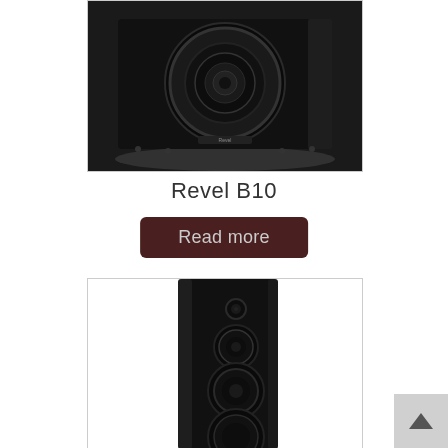[Figure (photo): Black subwoofer speaker (Revel B10) photographed against white background, showing front with circular woofer cone]
Revel B10
Read more
[Figure (photo): Black gloss tall tower floor-standing speaker photographed showing front with multiple driver cones including tweeter and woofers]